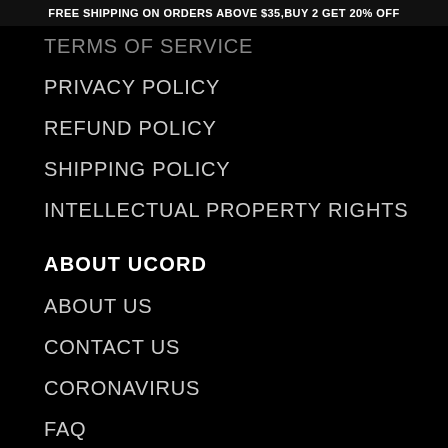FREE SHIPPING ON ORDERS ABOVE $35,BUY 2 GET 20% OFF
TERMS OF SERVICE
PRIVACY POLICY
REFUND POLICY
SHIPPING POLICY
INTELLECTUAL PROPERTY RIGHTS
ABOUT UCORD
ABOUT US
CONTACT US
CORONAVIRUS
FAQ
TEXT AREA